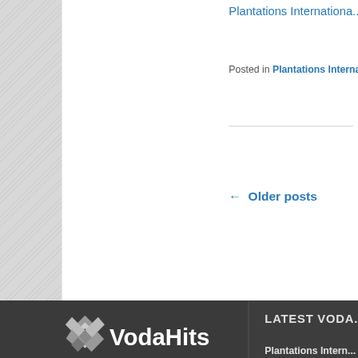Plantations Internationa...
Posted in Plantations Interna...
← Older posts
[Figure (logo): VodaHits logo - diamond chevron icon with VodaHits text in white on dark background]
LATEST VODA...
Terms of Service
Privacy Policy
Customer Support Portal
Customer Testimonials
Plantations Intern...
Most of the bambo... International Ethiop...
EU extends duties... surge
Plantations Interna... After a year-long in... duties on U.S. b...